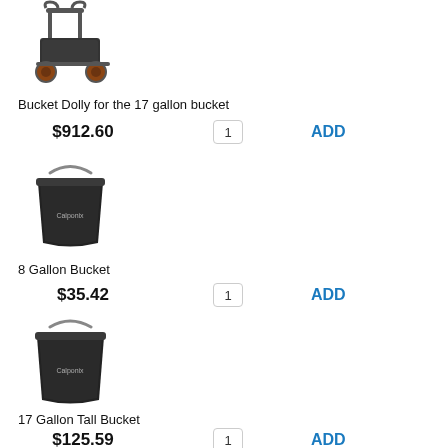[Figure (photo): Bucket dolly cart with wheels and handle for 17 gallon bucket]
Bucket Dolly for the 17 gallon bucket
$912.60  1  ADD
[Figure (photo): Black 8 gallon bucket with handle, Calponix branding]
8 Gallon Bucket
$35.42  1  ADD
[Figure (photo): Black 17 gallon tall bucket with handle, Calponix branding]
17 Gallon Tall Bucket
$125.59  1  ADD
[Figure (photo): Metal stand/tripod tool, partially visible at bottom of page]